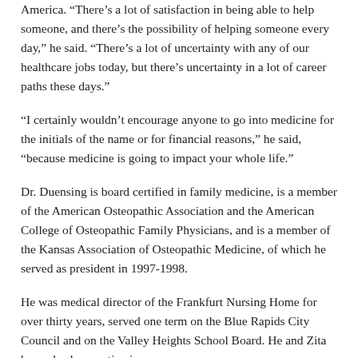America. “There’s a lot of satisfaction in being able to help someone, and there’s the possibility of helping someone every day,” he said. “There’s a lot of uncertainty with any of our healthcare jobs today, but there’s uncertainty in a lot of career paths these days.”
“I certainly wouldn’t encourage anyone to go into medicine for the initials of the name or for financial reasons,” he said, “because medicine is going to impact your whole life.”
Dr. Duensing is board certified in family medicine, is a member of the American Osteopathic Association and the American College of Osteopathic Family Physicians, and is a member of the Kansas Association of Osteopathic Medicine, of which he served as president in 1997-1998.
He was medical director of the Frankfurt Nursing Home for over thirty years, served one term on the Blue Rapids City Council and on the Valley Heights School Board. He and Zita have also been active in